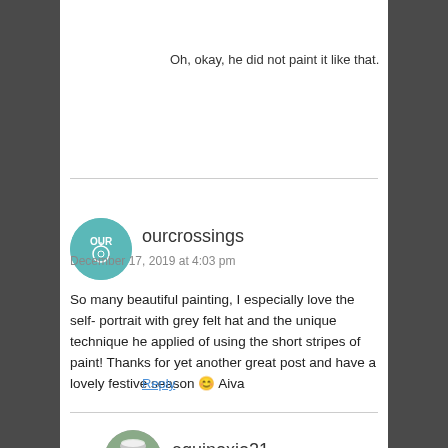Oh, okay, he did not paint it like that.
ourcrossings
December 17, 2019 at 4:03 pm
So many beautiful painting, I especially love the self- portrait with grey felt hat and the unique technique he applied of using the short stripes of paint! Thanks for yet another great post and have a lovely festive season 😊 Aiva
Reply
equinoxio21